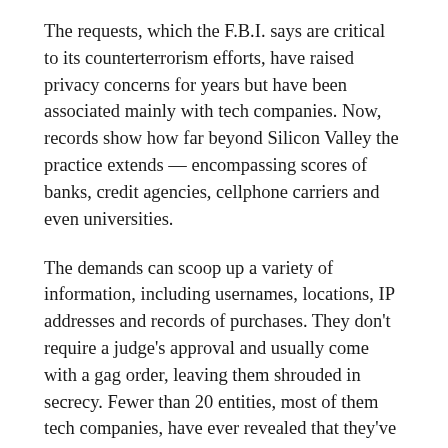The requests, which the F.B.I. says are critical to its counterterrorism efforts, have raised privacy concerns for years but have been associated mainly with tech companies. Now, records show how far beyond Silicon Valley the practice extends — encompassing scores of banks, credit agencies, cellphone carriers and even universities.
The demands can scoop up a variety of information, including usernames, locations, IP addresses and records of purchases. They don't require a judge's approval and usually come with a gag order, leaving them shrouded in secrecy. Fewer than 20 entities, most of them tech companies, have ever revealed that they've received the subpoenas, known as national security letters.
The documents, obtained by the Electronic Frontier Foundation through a Freedom of Information Act lawsuit and shared with The New York Times, shed light on the scope of the demands — more than 120 companies and other entities were included in the filing — and raise questions about